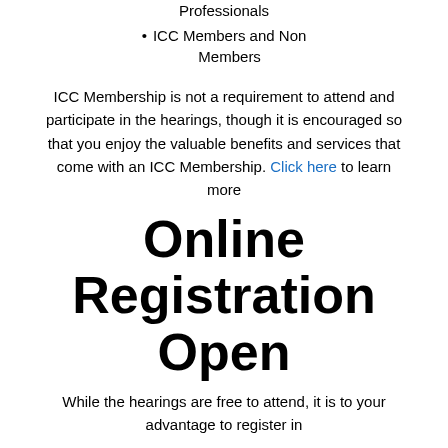Professionals
ICC Members and Non Members
ICC Membership is not a requirement to attend and participate in the hearings, though it is encouraged so that you enjoy the valuable benefits and services that come with an ICC Membership. Click here to learn more
Online Registration Open
While the hearings are free to attend, it is to your advantage to register in